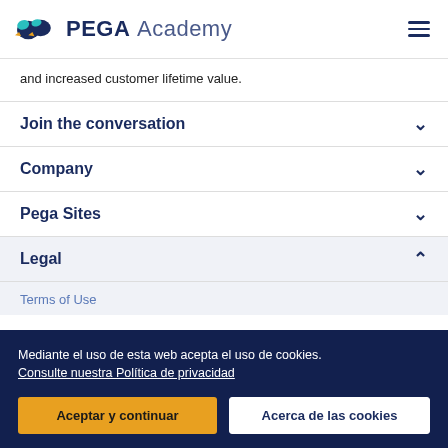PEGA Academy
and increased customer lifetime value.
Join the conversation
Company
Pega Sites
Legal
Terms of Use
Mediante el uso de esta web acepta el uso de cookies. Consulte nuestra Política de privacidad
Aceptar y continuar
Acerca de las cookies